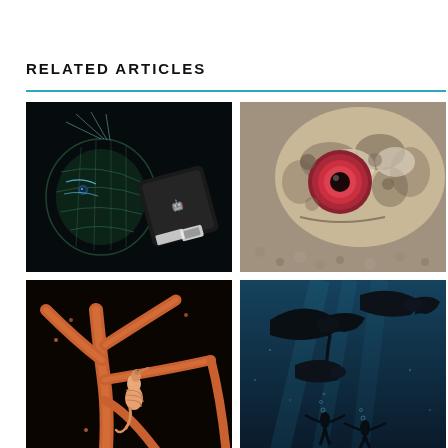RELATED ARTICLES
[Figure (photo): Left image: X-ray or bioluminescent view of a flatfish alongside a black electronic device with a robot logo. Dark background.]
[Figure (photo): Right image: Close-up macro photo of a spotted/mottled fish face with a large red circular marking, on a sandy/gravelly substrate.]
[Figure (photo): Left bottom image: Close-up of orange/red coral branches with a small pink seahorse or similar creature clinging to them, against a dark background.]
[Figure (photo): Right bottom image: Underwater shot of multiple large manta rays or similar large fish silhouetted against blue water, with divers visible below.]